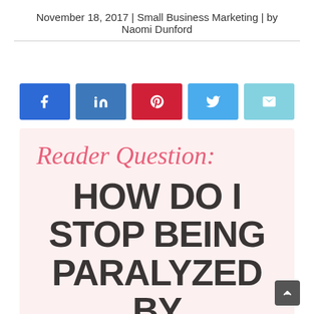November 18, 2017 | Small Business Marketing | by Naomi Dunford
[Figure (infographic): Social share buttons row: Facebook (blue), LinkedIn (dark blue), Pinterest (red), Twitter (light blue), Email (light teal)]
[Figure (infographic): Pink/cream background feature box with cursive text 'Reader Question:' and bold headline 'HOW DO I STOP BEING PARALYZED BY']